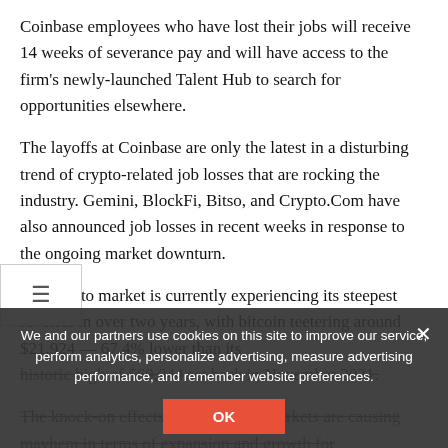Coinbase employees who have lost their jobs will receive 14 weeks of severance pay and will have access to the firm's newly-launched Talent Hub to search for opportunities elsewhere.
The layoffs at Coinbase are only the latest in a disturbing trend of crypto-related job losses that are rocking the industry. Gemini, BlockFi, Bitso, and Crypto.Com have also announced job losses in recent weeks in response to the ongoing market downturn.
The crypto market is currently experiencing its steepest reversal in over two years, with bitcoin teetering around $21,924 — 67.4% lower than its historic high of $69,044 set back in November 2021.
The knock-on effects of the bearish markets are causing mayhem in terms of expansion and growth for cryptocurrency firms. But while these companies reduce their staff, the world's largest exchange by trading
We and our partners use cookies on this site to improve our service, perform analytics, personalize advertising, measure advertising performance, and remember website preferences.